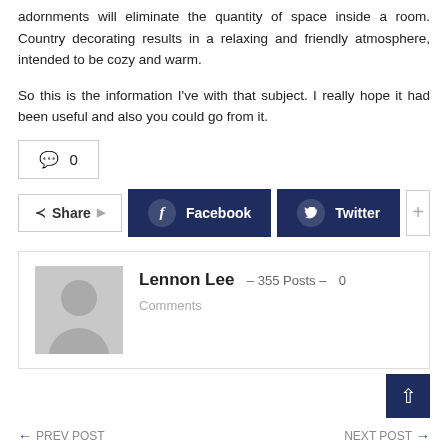adornments will eliminate the quantity of space inside a room. Country decorating results in a relaxing and friendly atmosphere, intended to be cozy and warm.
So this is the information I've with that subject. I really hope it had been useful and also you could go from it.
[Figure (other): Comment count box showing speech bubble icon and 0 count]
[Figure (other): Share row with Share button, Facebook button, Twitter button, and plus button]
[Figure (other): Author box with avatar placeholder, Lennon Lee name, 355 Posts, 0 Comments]
PREV POST   NEXT POST